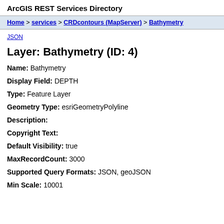ArcGIS REST Services Directory
Home > services > CRDcontours (MapServer) > Bathymetry
JSON
Layer: Bathymetry (ID: 4)
Name: Bathymetry
Display Field: DEPTH
Type: Feature Layer
Geometry Type: esriGeometryPolyline
Description:
Copyright Text:
Default Visibility: true
MaxRecordCount: 3000
Supported Query Formats: JSON, geoJSON
Min Scale: 10001